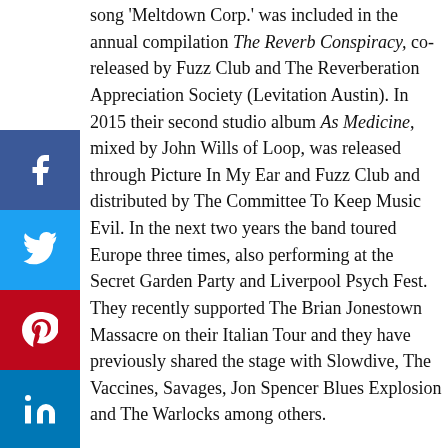song 'Meltdown Corp.' was included in the annual compilation The Reverb Conspiracy, co-released by Fuzz Club and The Reverberation Appreciation Society (Levitation Austin). In 2015 their second studio album As Medicine, mixed by John Wills of Loop, was released through Picture In My Ear and Fuzz Club and distributed by The Committee To Keep Music Evil. In the next two years the band toured Europe three times, also performing at the Secret Garden Party and Liverpool Psych Fest. They recently supported The Brian Jonestown Massacre on their Italian Tour and they have previously shared the stage with Slowdive, The Vaccines, Savages, Jon Spencer Blues Explosion and The Warlocks among others.
[Figure (infographic): Social media sharing sidebar with Facebook, Twitter, Pinterest, LinkedIn, and Tumblr buttons]
[Figure (infographic): Advertisement banner for 1800flowers.com: Trending Flowers & Gifts, Shop The Collection, www.1800flowers.com, with flower image and navigation arrow]